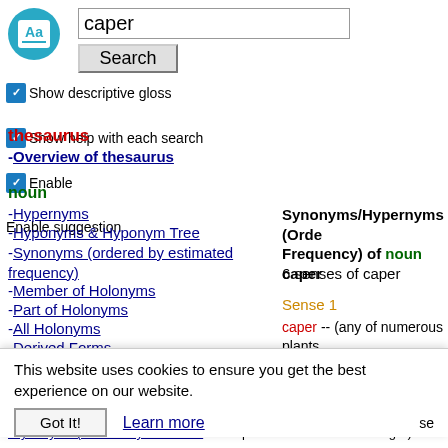[Figure (logo): Teal circular logo with 'Aa' text and lines, representing a dictionary/thesaurus app icon]
caper
Search
Show descriptive gloss  Show help with each search  Enable suggestion
thesaurus
-Overview of thesaurus
noun
-Hypernyms
-Hyponyms & Hyponym Tree
-Synonyms (ordered by estimated frequency)
-Member of Holonyms
-Part of Holonyms
-All Holonyms
-Derived Forms
-Familiarity & Polysemy Count
-Coordinate Terms (sisters)
-Hierarchical Holonyms
Synonyms/Hypernyms (Ordered by Frequency) of noun caper
6 senses of caper
Sense 1
caper -- (any of numerous plants
=> shrub, bush -- (a low woody plant having several major stems)
This website uses cookies to ensure you get the best experience on our website.
Got It!
Learn more
-Synonyms (ordered by estimated
preserved in brine or vinegar)